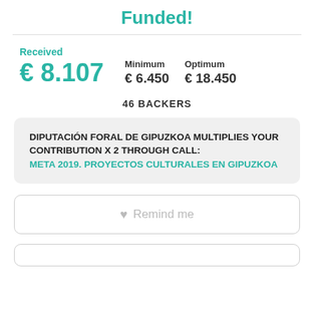Funded!
Received € 8.107
Minimum € 6.450   Optimum € 18.450
46 BACKERS
DIPUTACIÓN FORAL DE GIPUZKOA MULTIPLIES YOUR CONTRIBUTION X 2 THROUGH CALL: META 2019. PROYECTOS CULTURALES EN GIPUZKOA
Remind me